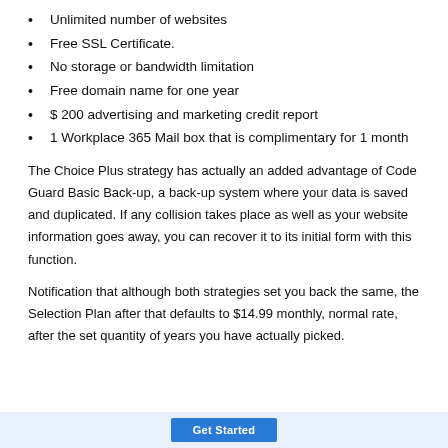Unlimited number of websites
Free SSL Certificate.
No storage or bandwidth limitation
Free domain name for one year
$ 200 advertising and marketing credit report
1 Workplace 365 Mail box that is complimentary for 1 month
The Choice Plus strategy has actually an added advantage of Code Guard Basic Back-up, a back-up system where your data is saved and duplicated. If any collision takes place as well as your website information goes away, you can recover it to its initial form with this function.
Notification that although both strategies set you back the same, the Selection Plan after that defaults to $14.99 monthly, normal rate, after the set quantity of years you have actually picked.
Get Started